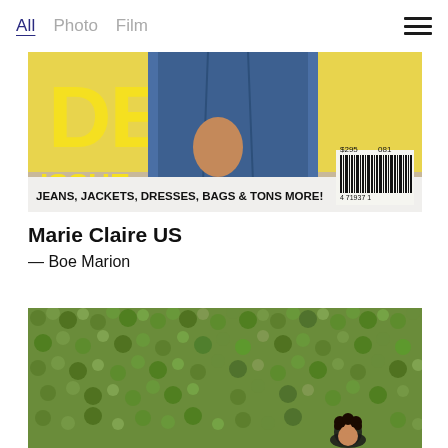All  Photo  Film
[Figure (photo): Magazine cover of Marie Claire US Denim Issue showing jeans, jackets, dresses, bags and more with barcode visible]
Marie Claire US
— Boe Marion
[Figure (photo): Aerial photograph of a person standing on green moss or grass-covered ground, viewed from above]